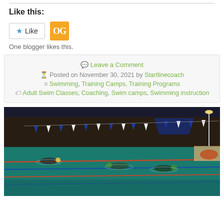Like this:
Like   One blogger likes this.
Leave a Comment
Posted on November 30, 2021 by Startlinecoach
Swimming, Training Camps, Training Programs
Adult Swim Classes, Coaching, Swim camps, Swimming instruction
[Figure (photo): Night-time outdoor swimming pool with lane ropes, blue and white triangle banners, swimmers in the water, bleachers in background.]